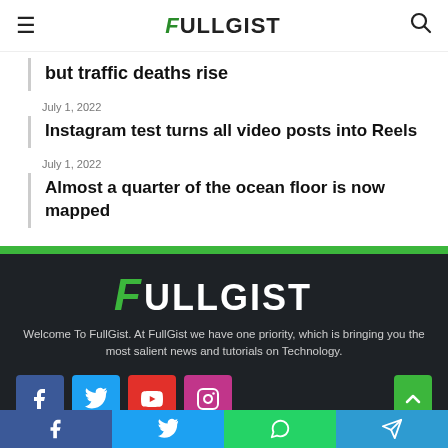FULLGIST
but traffic deaths rise
July 1, 2022
Instagram test turns all video posts into Reels
July 1, 2022
Almost a quarter of the ocean floor is now mapped
[Figure (logo): FullGist logo in footer — green stylized F with white ULLGIST text on dark background]
Welcome To FullGist. At FullGist we have one priority, which is bringing you the most salient news and tutorials on Technology.
[Figure (infographic): Social media icon buttons: Facebook (blue), Twitter (cyan), YouTube (red), Instagram (pink/purple)]
Facebook | Twitter | WhatsApp | Telegram share buttons bar